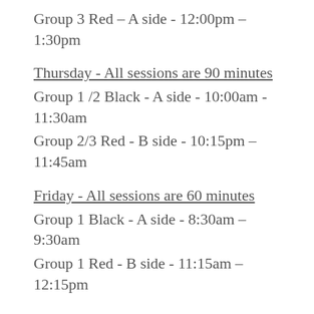Group 3 Red – A side - 12:00pm – 1:30pm
Thursday - All sessions are 90 minutes
Group 1 /2 Black - A side - 10:00am - 11:30am
Group 2/3 Red - B side - 10:15pm – 11:45am
Friday - All sessions are 60 minutes
Group 1 Black - A side - 8:30am – 9:30am
Group 1 Red - B side - 11:15am – 12:15pm